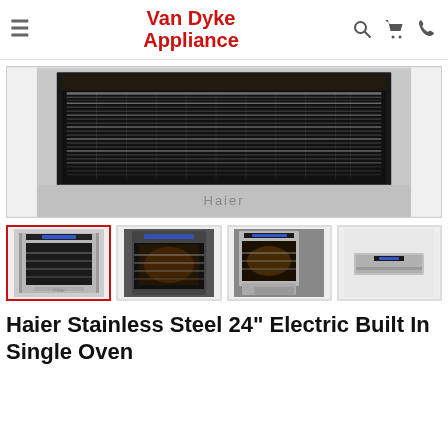Van Dyke Appliance
[Figure (photo): Main product photo of Haier stainless steel wall oven interior showing oven racks, lit interior, and Haier branding on the front panel]
[Figure (photo): Thumbnail 1: Front view of Haier stainless steel single wall oven, door closed with blue LED display]
[Figure (photo): Thumbnail 2: Front view of Haier single wall oven door open showing interior racks]
[Figure (photo): Thumbnail 3: Haier single wall oven with door open at angle showing lit interior]
[Figure (photo): Thumbnail 4: Side profile view of Haier single wall oven]
Haier Stainless Steel 24" Electric Built In Single Oven